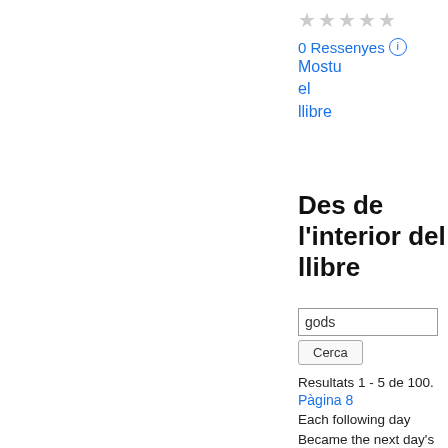★★★★★ (empty stars)
0 Ressenyes ℹ
Mostra el llibre
Des de l'interior del llibre
gods
Cerca
Resultats 1 - 5 de 100.
Pàgina 8
Each following day Became the next day's master , till the last Made former wonders it's : To - day , the French , All clinquant ?, all in gold , like heathen gods